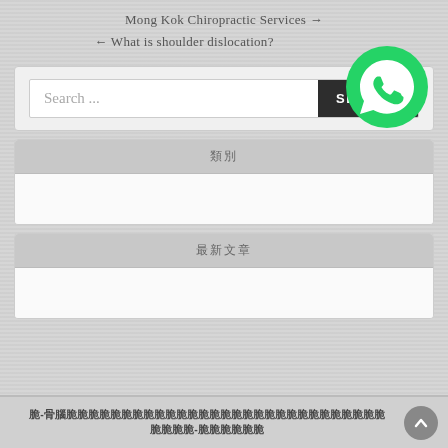Mong Kok Chiropractic Services →
← What is shoulder dislocation?
[Figure (logo): WhatsApp green circle logo icon]
Search ...
類別 (Chinese widget header)
最新文章 (Chinese widget header)
Chinese footer navigation text with scroll-to-top button